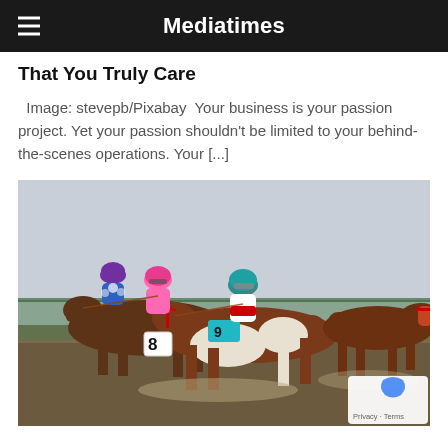Mediatimes
That You Truly Care
Image: stevepb/Pixabay  Your business is your passion project. Yet your passion shouldn't be limited to your behind-the-scenes operations. Your [...]
[Figure (photo): Horse race in progress with multiple jockeys on horseback racing on a dirt track. Horses numbered 8 and 9 visible. A reCAPTCHA privacy badge is visible in the bottom right corner.]